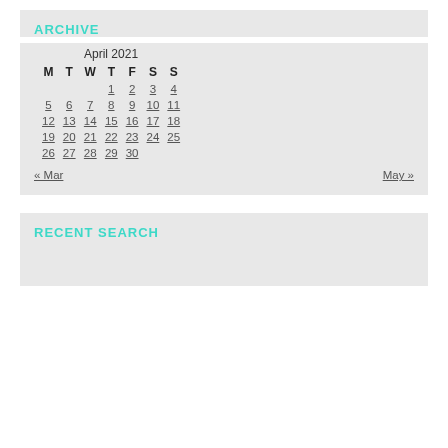ARCHIVE
| M | T | W | T | F | S | S |
| --- | --- | --- | --- | --- | --- | --- |
|  |  |  | 1 | 2 | 3 | 4 |
| 5 | 6 | 7 | 8 | 9 | 10 | 11 |
| 12 | 13 | 14 | 15 | 16 | 17 | 18 |
| 19 | 20 | 21 | 22 | 23 | 24 | 25 |
| 26 | 27 | 28 | 29 | 30 |  |  |
« Mar    May »
RECENT SEARCH